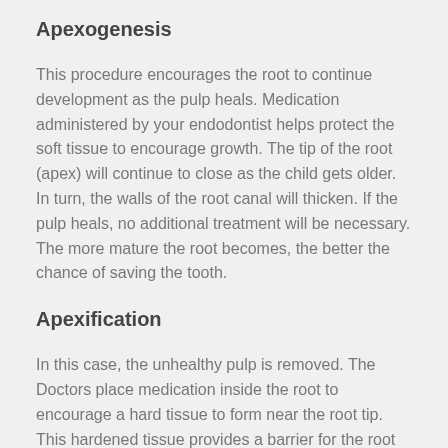Apexogenesis
This procedure encourages the root to continue development as the pulp heals. Medication administered by your endodontist helps protect the soft tissue to encourage growth. The tip of the root (apex) will continue to close as the child gets older. In turn, the walls of the root canal will thicken. If the pulp heals, no additional treatment will be necessary. The more mature the root becomes, the better the chance of saving the tooth.
Apexification
In this case, the unhealthy pulp is removed. The Doctors place medication inside the root to encourage a hard tissue to form near the root tip. This hardened tissue provides a barrier for the root canal filling. At this point, the root canal walls will not continue to develop, making the tooth susceptible to fractures. Therefore, it is important to have the